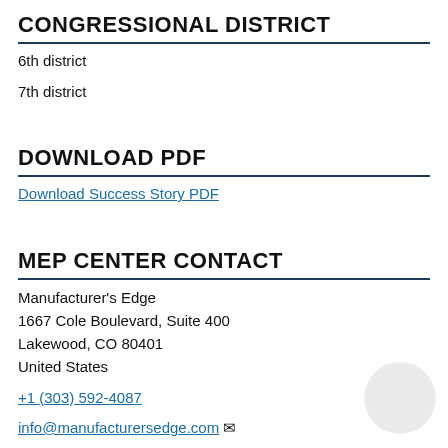CONGRESSIONAL DISTRICT
6th district
7th district
DOWNLOAD PDF
Download Success Story PDF
MEP CENTER CONTACT
Manufacturer's Edge
1667 Cole Boulevard, Suite 400
Lakewood, CO 80401
United States
+1 (303) 592-4087
info@manufacturersedge.com